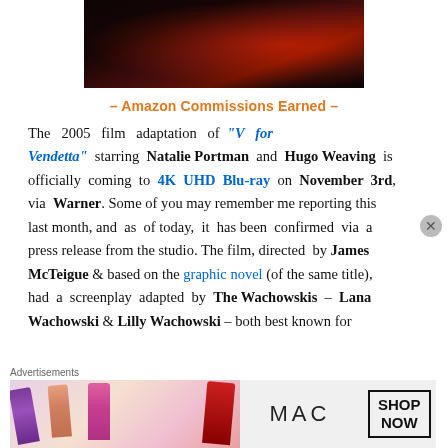[Figure (photo): Movie poster/cover image for V for Vendetta showing dark red and black tones with a figure]
– Amazon Commissions Earned –
The 2005 film adaptation of "V for Vendetta" starring Natalie Portman and Hugo Weaving is officially coming to 4K UHD Blu-ray on November 3rd, via Warner. Some of you may remember me reporting this last month, and as of today, it has been confirmed via a press release from the studio. The film, directed by James McTeigue & based on the graphic novel (of the same title), had a screenplay adapted by The Wachowskis – Lana Wachowski & Lilly Wachowski – both best known for
Advertisements
[Figure (photo): MAC Cosmetics advertisement banner showing lipsticks and SHOP NOW button]